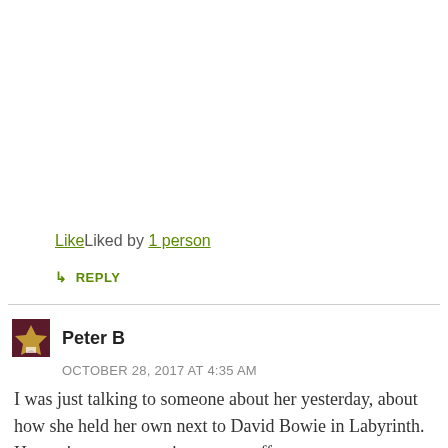LikeLiked by 1 person
↳ REPLY
Peter B
OCTOBER 28, 2017 AT 4:35 AM
I was just talking to someone about her yesterday, about how she held her own next to David Bowie in Labyrinth. Her acting was not quite up to snuff yet at